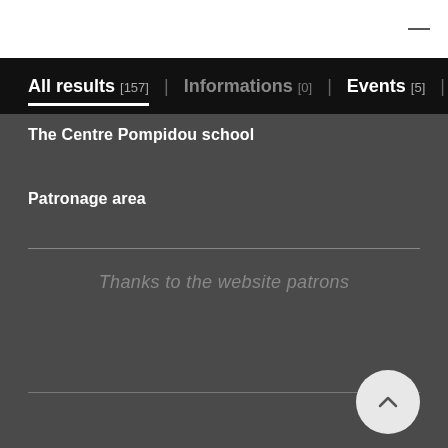All results [157]  |  Informations [0]  |  Events [5]  |  Artwork
The Centre Pompidou school
Patronage area
Thanks to the website patrons